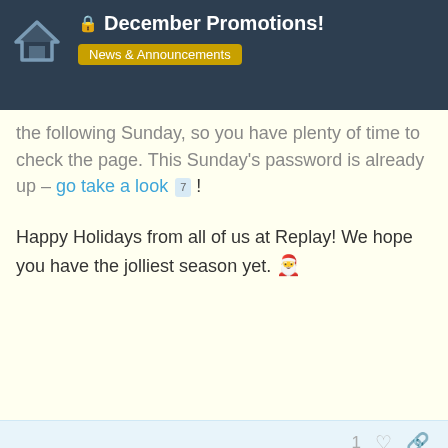🔒 December Promotions! — News & Announcements
the following Sunday, so you have plenty of time to check the page. This Sunday's password is already up – go take a look 7 !
Happy Holidays from all of us at Replay! We hope you have the jolliest season yet. 🎅
1 ♡ 🔗
created Nov '16   last reply Nov '17   1 reply
12 MONTHS LATER
CLOSED ON NOV 27, '17
1 / 2